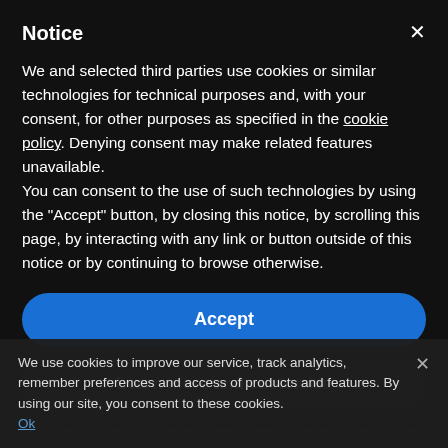Notice
We and selected third parties use cookies or similar technologies for technical purposes and, with your consent, for other purposes as specified in the cookie policy. Denying consent may make related features unavailable.
You can consent to the use of such technologies by using the "Accept" button, by closing this notice, by scrolling this page, by interacting with any link or button outside of this notice or by continuing to browse otherwise.
Accept
Learn more and customize
Freeing up your time to focus on a favorite hobby is a great reason to say no. Kindly thank the person asking something of you and the
We use cookies to improve our service, track analytics, remember preferences and access of products and features. By using our site, you consent to these cookies.
Ok